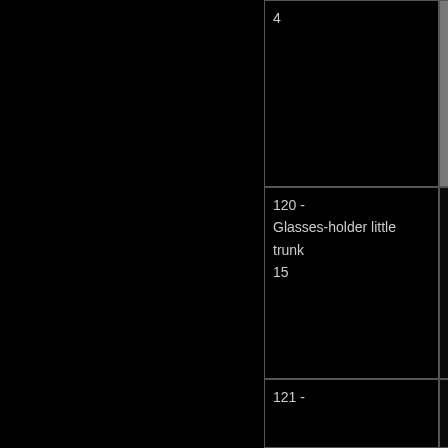[Figure (photo): Large black rectangle on the left side of the page, occupying roughly the left half]
| 4 |  |
| 120 -
Glasses-holder little trunk
15 |  |
| 121 - |  |